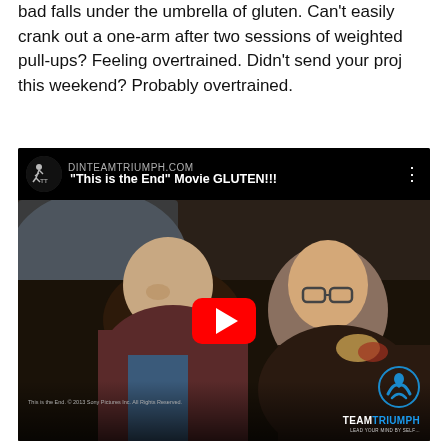bad falls under the umbrella of gluten. Can't easily crank out a one-arm after two sessions of weighted pull-ups? Feeling overtrained. Didn't send your proj this weekend? Probably overtrained.
[Figure (screenshot): Embedded YouTube video player showing a scene from 'This is the End' movie, with title '"This is the End" Movie GLUTEN!!!' and a red play button overlay. Two people visible in a car eating food. TeamTriumph.com watermark visible.]